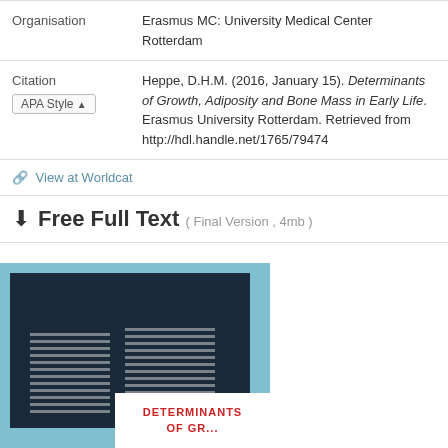| Field | Value |
| --- | --- |
| Organisation | Erasmus MC: University Medical Center Rotterdam |
| Citation | Heppe, D.H.M. (2016, January 15). Determinants of Growth, Adiposity and Bone Mass in Early Life. Erasmus University Rotterdam. Retrieved from http://hdl.handle.net/1765/79474 |
View at Worldcat
Free Full Text ( Final Version , 4mb )
[Figure (photo): Book cover thumbnail showing Determinants of Growth text on a dark navy background with horizontal stripe pattern, set against a light blue background]